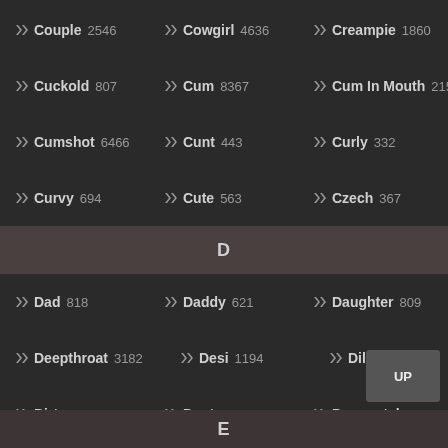Couple 2546 | Cowgirl 4636 | Creampie 1860
Cuckold 807 | Cum 8367 | Cum In Mouth 215
Cumshot 6466 | Cunt 443 | Curly 332
Curvy 694 | Cute 563 | Czech 367
D
Dad 818 | Daddy 621 | Daughter 809
Deepthroat 3182 | Desi 1194 | Dildo 1188
Dirty 629 | Doctor 220 | Doggystyle 2154
Doll 186 | Domination 183 | Double 881
Double Penetration 130 | Dress 321 | Drilled 128
E